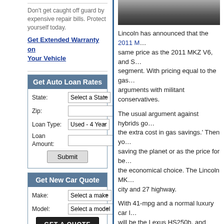Don't get caught off guard by expensive repair bills. Protect yourself today.
Get Extended Warranty on Your Vehicle
Get Auto Loan Rates
State: [Select a State] Zip: [] Loan Type: [Used - 4 Year] Loan Amount: [] Submit
Get New Car Quote
Make: [Select a make] Model: [Select a model] GET A QUOTE
Find Car Parts
Year: [Select a year]
[Figure (photo): Dark/gray photo strip at top of right column, appears to be a car photo]
Lincoln has announced that the 2011 M... same price as the 2011 MKZ V6, and S... segment. With pricing equal to the gas... arguments with militant conservatives.
The usual argument against hybrids go... the extra cost in gas savings.' Then yo... saving the planet or as the price for be... the economical choice. The Lincoln MK... city and 27 highway.
With 41-mpg and a normal luxury car l... will be the Lexus HS250h, and while th... the HS250h. Plus, the MKZ looks like a...
Posted in Electric cars, Hybrids, Lexus, ...
2 Responses to “2011 L...
1. on 28 Jul 2010 at 9:13 am1  2011...